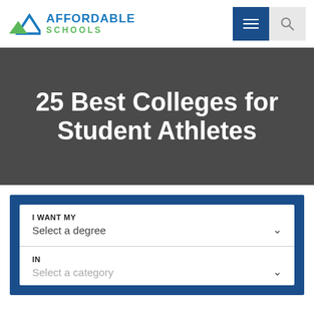[Figure (logo): Affordable Schools logo with mountain/triangle icon in blue and green, with text AFFORDABLE in blue and SCHOOLS in green]
25 Best Colleges for Student Athletes
[Figure (screenshot): Filter widget with dark blue border. Contains two dropdown fields: I WANT MY / Select a degree and IN / Select a category]